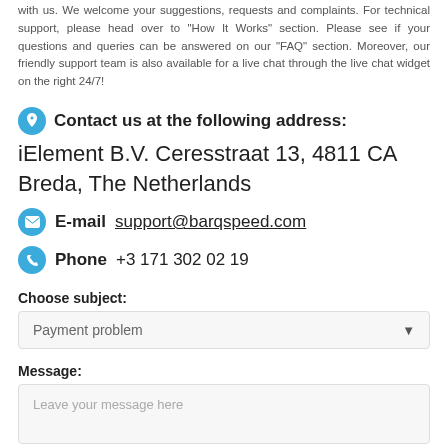with us. We welcome your suggestions, requests and complaints. For technical support, please head over to "How It Works" section. Please see if your questions and queries can be answered on our "FAQ" section. Moreover, our friendly support team is also available for a live chat through the live chat widget on the right 24/7!
Contact us at the following address:
iElement B.V. Ceresstraat 13, 4811 CA Breda, The Netherlands
E-mail support@barqspeed.com
Phone +3 171 302 02 19
Choose subject:
Payment problem
Message:
Leave your message here